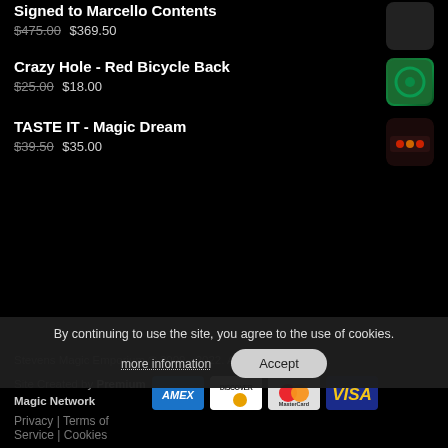Signed to Marcello Contents — $475.00 $369.50
Crazy Hole - Red Bicycle Back — $25.00 $18.00
TASTE IT - Magic Dream — $39.50 $35.00
Stevens Magic Emporium © 2009 - 2022. All Rights Reserved. Site Created by Premium Magic Network
Privacy | Terms of Service | Cookies
By continuing to use the site, you agree to the use of cookies. more information Accept